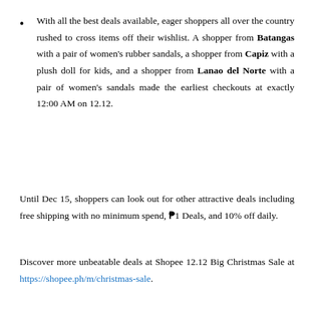With all the best deals available, eager shoppers all over the country rushed to cross items off their wishlist. A shopper from Batangas with a pair of women's rubber sandals, a shopper from Capiz with a plush doll for kids, and a shopper from Lanao del Norte with a pair of women's sandals made the earliest checkouts at exactly 12:00 AM on 12.12.
Until Dec 15, shoppers can look out for other attractive deals including free shipping with no minimum spend, ₱1 Deals, and 10% off daily.
Discover more unbeatable deals at Shopee 12.12 Big Christmas Sale at https://shopee.ph/m/christmas-sale.